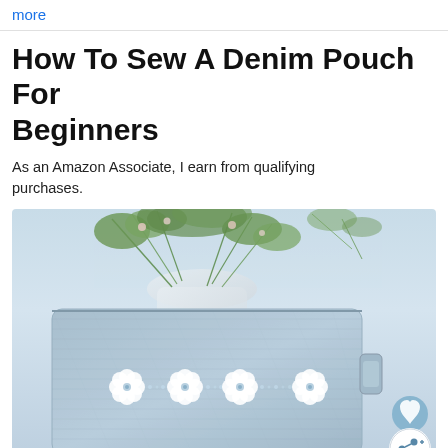more
How To Sew A Denim Pouch For Beginners
As an Amazon Associate, I earn from qualifying purchases.
[Figure (photo): A light blue denim zippered pouch decorated with white fabric flowers and rhinestones along the front, photographed against a white background with green leafy flowers in a white vase behind it. A small fabric loop handle is visible on the right side. Blue heart and share buttons overlay the bottom-right corner of the image.]